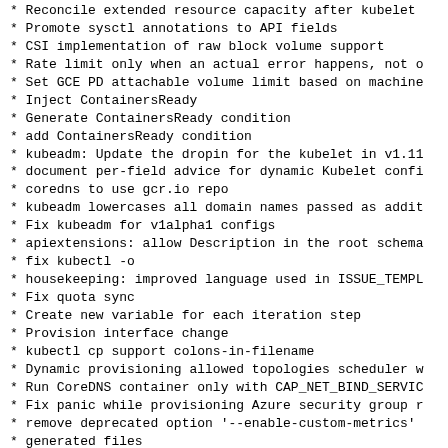* Reconcile extended resource capacity after kubelet
* Promote sysctl annotations to API fields
* CSI implementation of raw block volume support
* Rate limit only when an actual error happens, not o
* Set GCE PD attachable volume limit based on machine
* Inject ContainersReady
* Generate ContainersReady condition
* add ContainersReady condition
* kubeadm: Update the dropin for the kubelet in v1.11
* document per-field advice for dynamic Kubelet confi
* coredns to use gcr.io repo
* kubeadm lowercases all domain names passed as addit
* Fix kubeadm for v1alpha1 configs
* apiextensions: allow Description in the root schema
* fix kubectl -o
* housekeeping: improved language used in ISSUE_TEMPL
* Fix quota sync
* Create new variable for each iteration step
* Provision interface change
* kubectl cp support colons-in-filename
* Dynamic provisioning allowed topologies scheduler w
* Run CoreDNS container only with CAP_NET_BIND_SERVIC
* Fix panic while provisioning Azure security group r
* remove deprecated option '--enable-custom-metrics'
* generated files
* Setup docker options according to windows security
* Setup windows security context in CRI
* Add security context for Windows containers
* API changes for Topology aware dynamic provisioning
* implement service account token projection
* Add support for ...